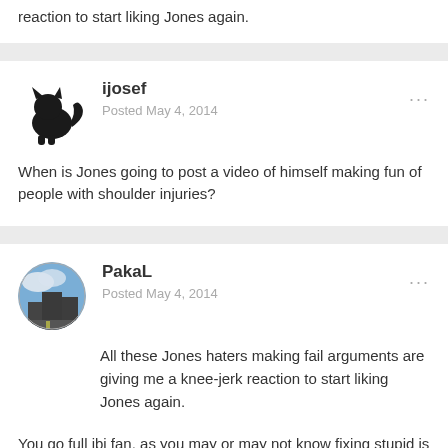reaction to start liking Jones again.
ijosef
Posted May 4, 2014
When is Jones going to post a video of himself making fun of people with shoulder injuries?
PakaL
Posted May 4, 2014
All these Jones haters making fail arguments are giving me a knee-jerk reaction to start liking Jones again.
You go full jbj fan, as you may or may not know fixing stupid is